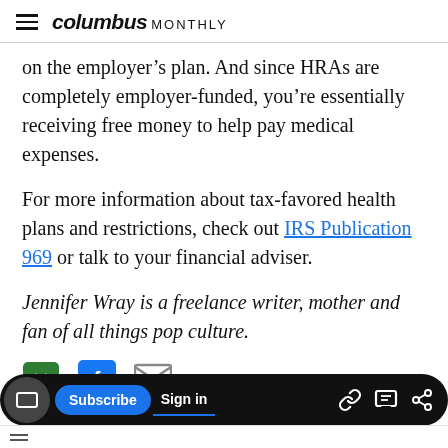columbus MONTHLY
on the employer's plan. And since HRAs are completely employer-funded, you're essentially receiving free money to help pay medical expenses.
For more information about tax-favored health plans and restrictions, check out IRS Publication 969 or talk to your financial adviser.
Jennifer Wray is a freelance writer, mother and fan of all things pop culture.
[Figure (infographic): Social sharing icons: txt (green speech bubble), Facebook (blue square with F), email (grey envelope)]
Subscribe | Sign in | link | comment | share icons bar